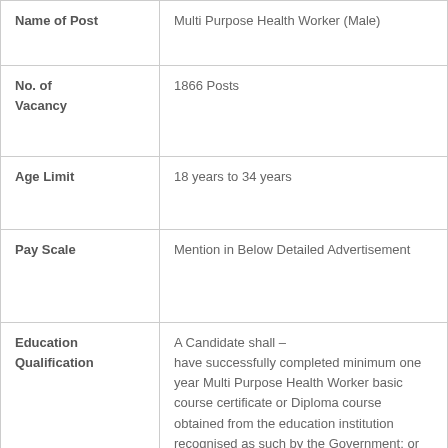| Field | Value |
| --- | --- |
| Name of Post | Multi Purpose Health Worker (Male) |
| No. of Vacancy | 1866 Posts |
| Age Limit | 18 years to 34 years |
| Pay Scale | Mention in Below Detailed Advertisement |
| Education Qualification | A Candidate shall –
have successfully completed minimum one year Multi Purpose Health Worker basic course certificate or Diploma course obtained from the education institution recognised as such by the Government; or
have minimum one year sanitary Inspectors Diploma Course obtained from education institution recognised as such |